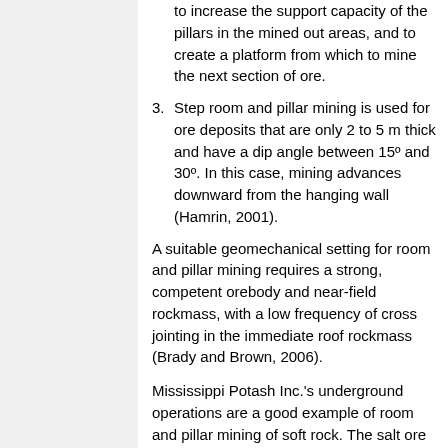to increase the support capacity of the pillars in the mined out areas, and to create a platform from which to mine the next section of ore.
3. Step room and pillar mining is used for ore deposits that are only 2 to 5 m thick and have a dip angle between 15º and 30º. In this case, mining advances downward from the hanging wall (Hamrin, 2001).
A suitable geomechanical setting for room and pillar mining requires a strong, competent orebody and near-field rockmass, with a low frequency of cross jointing in the immediate roof rockmass (Brady and Brown, 2006).
Mississippi Potash Inc.'s underground operations are a good example of room and pillar mining of soft rock. The salt ore is surrounded and intruded by clay seams which form zones of weakness that are controlled by rock bolts or cribs. Since the stability of the salt layers is much easier to control with ground support, the roof of the mine excavations are designed to be developed in salt (Herne and